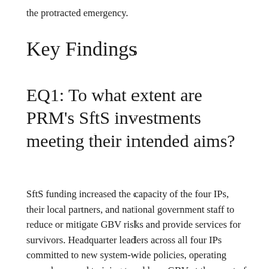the protracted emergency.
Key Findings
EQ1: To what extent are PRM's SftS investments meeting their intended aims?
SftS funding increased the capacity of the four IPs, their local partners, and national government staff to reduce or mitigate GBV risks and provide services for survivors. Headquarter leaders across all four IPs committed to new system-wide policies, operating procedures, and training to address GBV at the onset of most (if not all) major emergencies. All four IPs provided GBV training